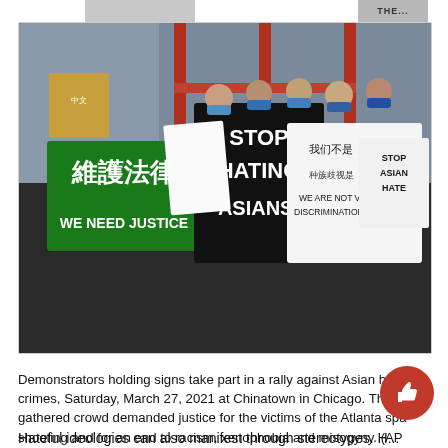[Figure (photo): Demonstrators at a rally against Asian hate crimes at Chinatown in Chicago holding signs including 'STOP HATING ASIANS!', '維護法律 WE NEED JUSTICE', and '我们不是病毒 WE ARE NOT VIRUS, DISCRIMINATION IS VIRUS!']
Demonstrators holding signs take part in a rally against Asian hate crimes, Saturday, March 27, 2021 at Chinatown in Chicago. The gathered crowd demanded justice for the victims of the Atlanta spa shooting and for an end to racism, xenophobia and misogyny. (AP Photo/Shafkat Anowar) (AP)
Hateful ideologies can also manifest through stereotypes. H... stereotypes about the Asian community, such as the model minority